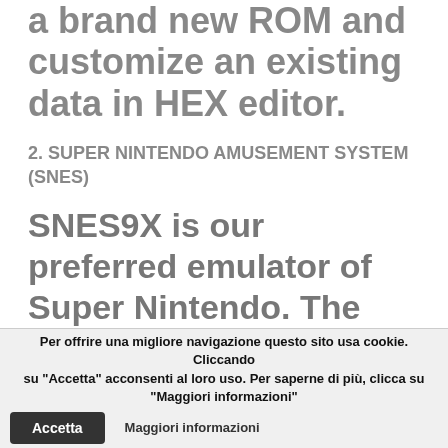a brand new ROM and customize an existing data in HEX editor.
2. SUPER NINTENDO AMUSEMENT SYSTEM (SNES)
SNES9X is our preferred emulator of Super Nintendo. The device proved to be suitable despite unusual ROMs as well as has a ported version for each and every popular OS. The emulator also has a mobile
Per offrire una migliore navigazione questo sito usa cookie. Cliccando su "Accetta" acconsenti al loro uso. Per saperne di più, clicca su "Maggiori informazioni"